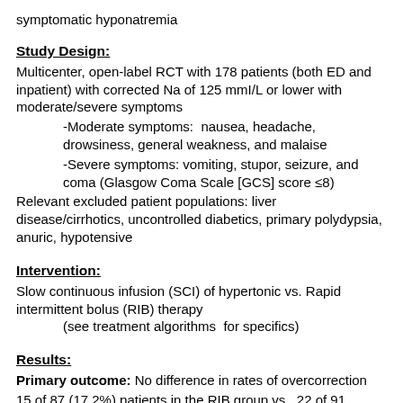symptomatic hyponatremia
Study Design:
Multicenter, open-label RCT with 178 patients (both ED and inpatient) with corrected Na of 125 mmI/L or lower with moderate/severe symptoms
-Moderate symptoms:  nausea, headache, drowsiness, general weakness, and malaise
-Severe symptoms: vomiting, stupor, seizure, and coma (Glasgow Coma Scale [GCS] score ≤8)
Relevant excluded patient populations: liver disease/cirrhotics, uncontrolled diabetics, primary polydypsia, anuric, hypotensive
Intervention:
Slow continuous infusion (SCI) of hypertonic vs. Rapid intermittent bolus (RIB) therapy
        (see treatment algorithms  for specifics)
Results:
Primary outcome: No difference in rates of overcorrection
15 of 87 (17.2%) patients in the RIB group vs.  22 of 91 (24.2%) patients in the SCI group
(absolute risk difference  -6.9% [95% CI, -19.9%